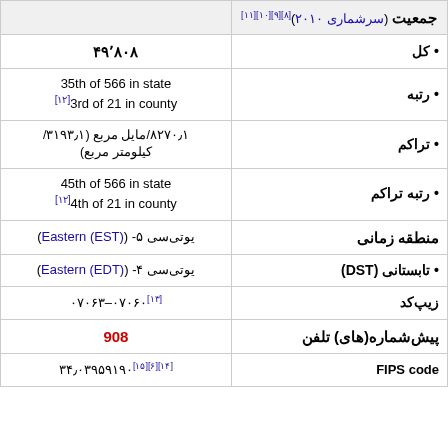| برچسب | مقدار |
| --- | --- |
| جمعیت (سرشماری ۲۰۱۰)[۸][۹][۱۰][۱۱] |  |
| • کل | ۴۹٬۸۰۸ |
| • رتبه | 35th of 566 in state
[۱۲]3rd of 21 in county |
| • تراکم | ۸۲۷۰٫۱/مایل مربع (۳۱۹۳٫۱/ کیلومتر مربع) |
| • رتبه تراکم | 45th of 566 in state
[۱۲]4th of 21 in county |
| منطقه زمانی | یوتی‌سی ۵- (Eastern (EST)) |
| • تابستانی (DST) | یوتی‌سی ۴- (Eastern (EDT)) |
| زیپ‌کد | [۱۳]۰۷۰۶۰–۰۷۰۶۳ |
| پیش‌شماره(های) تلفن | 908 |
| FIPS code | [۱۴][۶][۱۵]۳۴٫۰۳۹۵۹۱۹۰ |